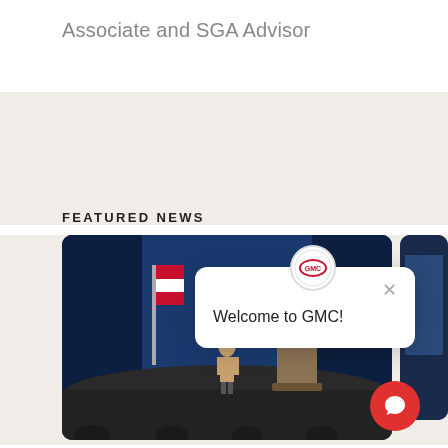Associate and SGA Advisor
FEATURED NEWS
[Figure (photo): A person standing on an auditorium stage with a blue curtain backdrop, flags on either side, and an audience visible in the foreground. A GMC logo chat popup overlay saying 'Welcome to GMC!' appears in the lower right area of the image.]